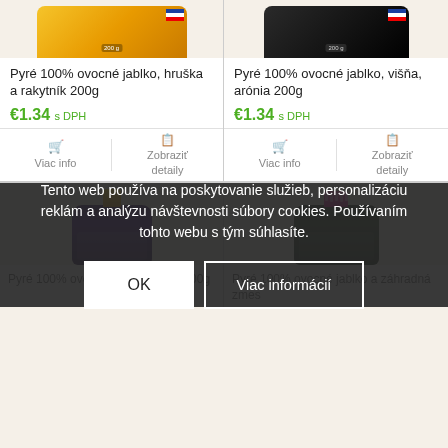[Figure (photo): Product image: Pyré 100% ovocné - corn/yellow colored packaging, top portion visible]
Pyré 100% ovocné jablko, hruška a rakytník 200g
€1.34 s DPH
Viac info
Zobraziť detaily
[Figure (photo): Product image: Pyré 100% ovocné - dark/black colored packaging, top portion visible]
Pyré 100% ovocné jablko, višňa, arónia 200g
€1.34 s DPH
Viac info
Zobraziť detaily
[Figure (photo): Product image: Pyré 100% ovocné - purple pouch with yellow cap (plum/slivka 200g)]
[Figure (photo): Product image: Pyré 100% ovocné - dark green pouch with pink cap (záhradná zmes)]
Tento web používa na poskytovanie služieb, personalizáciu reklám a analýzu návštevnosti súbory cookies. Používaním tohto webu s tým súhlasíte.
OK
Viac informácií
Pyré 100% ovocné jablko, slivka 200g
Pyré 100% ovocné jablko a záhradná zmes